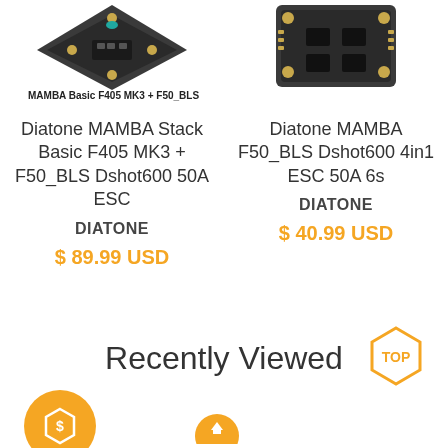[Figure (photo): Partial top view of Diatone MAMBA Basic F405 MK3 + F50_BLS flight controller stack product image (left)]
[Figure (photo): Partial top view of Diatone MAMBA F50_BLS ESC product image (right)]
MAMBA Basic F405 MK3 + F50_BLS
Diatone MAMBA Stack Basic F405 MK3 + F50_BLS Dshot600 50A ESC
DIATONE
$ 89.99 USD
Diatone MAMBA F50_BLS Dshot600 4in1 ESC 50A 6s
DIATONE
$ 40.99 USD
Recently Viewed
[Figure (logo): TOP hexagon badge in orange outline]
[Figure (logo): Orange circle with dollar/currency icon]
[Figure (logo): Small orange circle icon at bottom center]